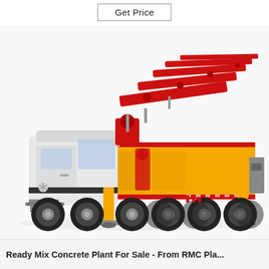Get Price
[Figure (photo): A large concrete pump truck (boom pump) mounted on a multi-axle Mercedes-Benz heavy truck chassis. The truck cab is white and the chassis/body is bright yellow and red. A long red multi-section folding boom arm extends from the top of the yellow body toward the upper right. The truck has approximately 5 axles with large black tires. The vehicle is photographed against a plain white/light gray background.]
Ready Mix Concrete Plant For Sale - From RMC Pla...